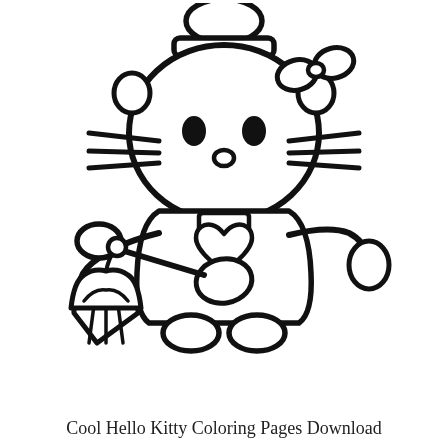[Figure (illustration): Hello Kitty coloring page line art: Hello Kitty dressed as a baker/chef wearing an apron with a heart, holding a large spoon, with a cupcake beside her and a chef hat on top.]
Cool Hello Kitty Coloring Pages Download